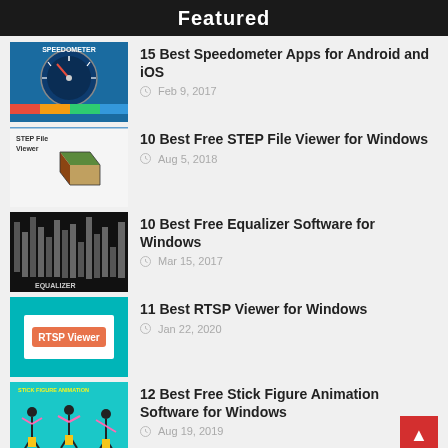Featured
15 Best Speedometer Apps for Android and iOS
10 Best Free STEP File Viewer for Windows
10 Best Free Equalizer Software for Windows
11 Best RTSP Viewer for Windows
12 Best Free Stick Figure Animation Software for Windows